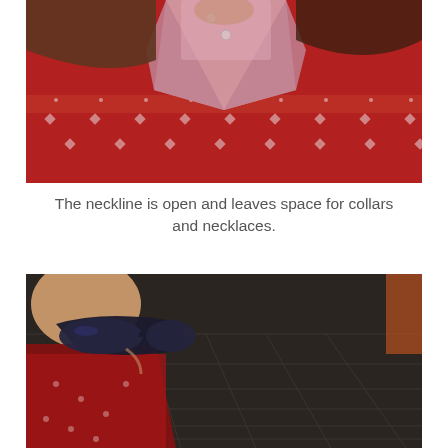[Figure (photo): Close-up photo of a person's neckline wearing a pink collared shirt/jacket with silver buttons over a red Fair Isle patterned sweater.]
The neckline is open and leaves space for collars and necklaces.
[Figure (photo): Photo of a person wearing dark sunglasses and a red patterned top, with a dark background showing a tiled floor.]